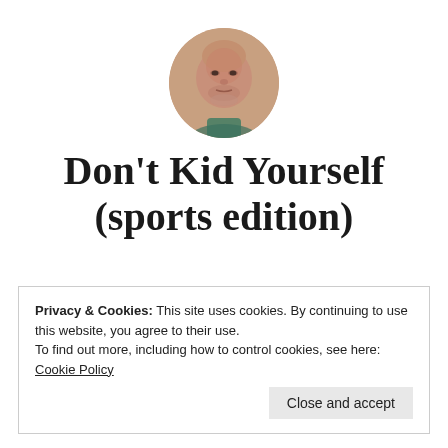[Figure (photo): Circular profile photo of a bald man looking at the camera, photographed indoors.]
Don't Kid Yourself (sports edition)
My opinions should be your opinions!
Privacy & Cookies: This site uses cookies. By continuing to use this website, you agree to their use.
To find out more, including how to control cookies, see here: Cookie Policy
Close and accept